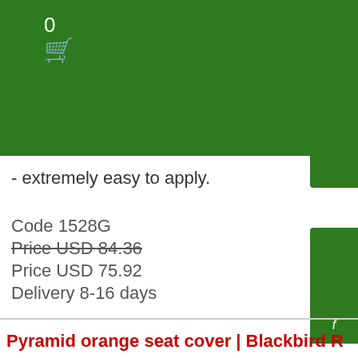[Figure (other): Green header bar with shopping cart count '0' and cart icon]
- extremely easy to apply.
Code 1528G
Price USD 84.36
Price USD 75.92
Delivery 8-16 days
Pyramid orange seat cover | Blackbird R